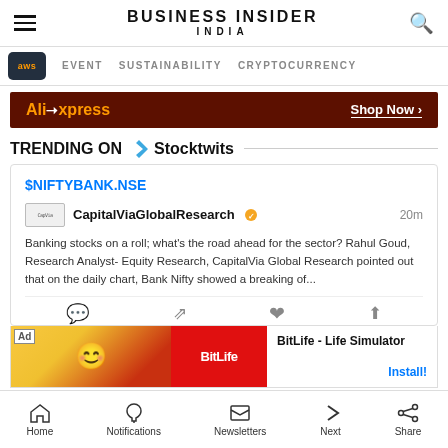BUSINESS INSIDER INDIA
[Figure (screenshot): Navigation bar with hamburger menu, Business Insider India logo, and search icon]
[Figure (infographic): Secondary navigation with AWS badge, EVENT, SUSTAINABILITY, CRYPTOCURRENCY links]
[Figure (infographic): AliExpress advertisement banner with 'Shop Now >' button]
TRENDING ON Stocktwits
$NIFTYBANK.NSE
CapitalViaGlobalResearch 20m
Banking stocks on a roll; what's the road ahead for the sector? Rahul Goud, Research Analyst- Equity Research, CapitalVia Global Research pointed out that on the daily chart, Bank Nifty showed a breaking of...
[Figure (infographic): BitLife - Life Simulator app advertisement with Install button]
Home  Notifications  Newsletters  Next  Share